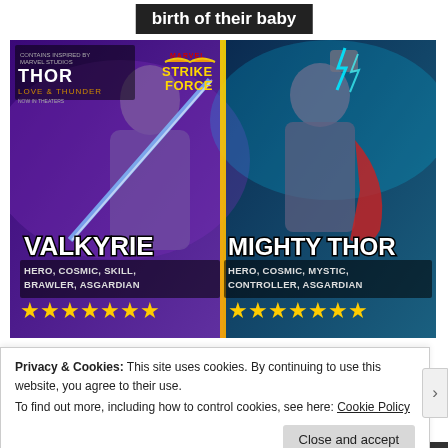birth of their baby
[Figure (screenshot): Marvel Strike Force game promotional image showing two characters: Valkyrie (left) with tags HERO, COSMIC, SKILL, BRAWLER, ASGARDIAN and Mighty Thor (right) with tags HERO, COSMIC, MYSTIC, CONTROLLER, ASGARDIAN. Both have 7 gold stars. Thor: Love and Thunder movie branding visible top left, Marvel Strike Force logo top center.]
Privacy & Cookies: This site uses cookies. By continuing to use this website, you agree to their use.
To find out more, including how to control cookies, see here: Cookie Policy
Close and accept